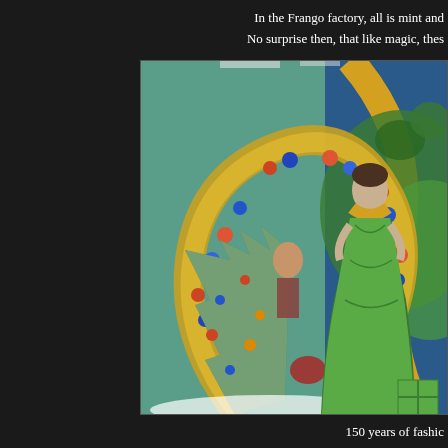In the Frango factory, all is mint and
No surprise then, that like magic, thes
[Figure (photo): A festive holiday window display featuring a mannequin dressed in a green gown with yellow accessories, alongside a large golden tinsel wreath arch decorated with blue and orange ornaments and a snow-flocked Christmas tree with colorful ornaments. A child figure is visible in the background through the window.]
150 years of fashic